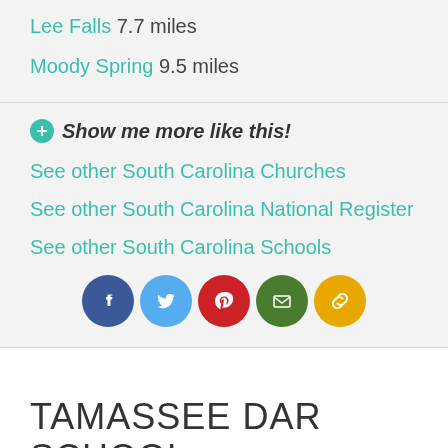Lee Falls 7.7 miles
Moody Spring 9.5 miles
⊕ Show me more like this!
See other South Carolina Churches
See other South Carolina National Register
See other South Carolina Schools
[Figure (infographic): Social sharing buttons: Facebook (blue), Twitter (light blue), Pinterest (red), Email (green), Link (yellow/gold)]
TAMASSEE DAR SCHOOL